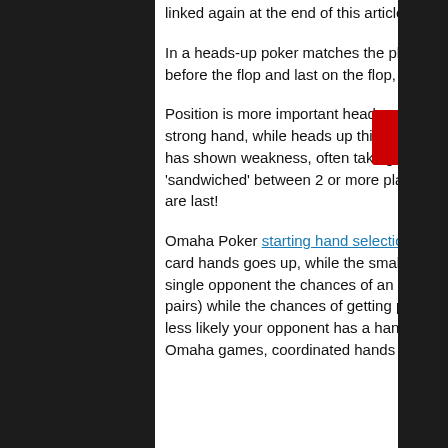linked again at the end of this article).
In a heads-up poker matches the player with the dealer button posts the small blind, this player will act first before the flop and last on the flop, turn and river betting rounds and is said to 'have position' for the hand.
Position is more important heads-up than in a full ring game. At a full table it is more likely someone will have a strong hand, while heads up this is less likely – meaning the player on the button can bet after an opponent has shown weakness, often taking a pot without a strong holding. At a full table it is possible to get 'sandwiched' between 2 or more players in the betting – this is not possible heads-up, when you are last you are last!
Omaha Poker starting hand selection is a key skill. In a heads-up PLO game the value of big pairs and high-card hands goes up, while the smaller rundowns (connected cards) lose some value. Since you only have a single opponent the chances of an over-pair winning the pot are greatly increased (along with hands like top 2-pairs) while the chances of getting paid off when you hit a monster on a ragged / low flop are reduced (as it is less likely your opponent has a hand to call a big bet with as you will hold many of the key cards). As in all Omaha games, coordinated hands are the key, double suited connected hands can be played